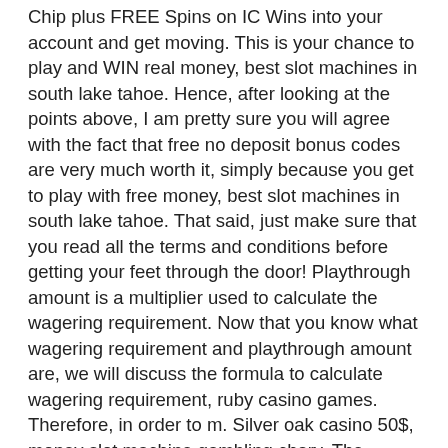Chip plus FREE Spins on IC Wins into your account and get moving. This is your chance to play and WIN real money, best slot machines in south lake tahoe. Hence, after looking at the points above, I am pretty sure you will agree with the fact that free no deposit bonus codes are very much worth it, simply because you get to play with free money, best slot machines in south lake tahoe. That said, just make sure that you read all the terms and conditions before getting your feet through the door! Playthrough amount is a multiplier used to calculate the wagering requirement. Now that you know what wagering requirement and playthrough amount are, we will discuss the formula to calculate wagering requirement, ruby casino games. Therefore, in order to m. Silver oak casino 50$, money slot machine gambling chary. The weekly draw will be held every Wednesday at 10am EST. Deposit & play throughout weekend